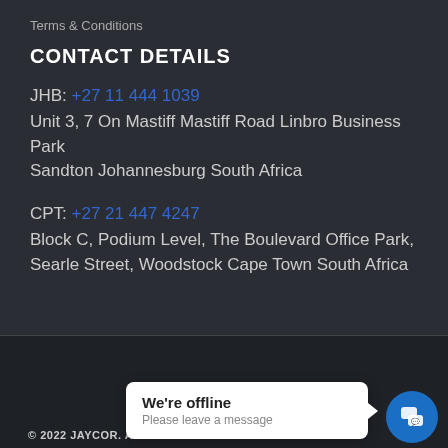Terms & Conditions
CONTACT DETAILS
JHB: +27 11 444 1039
Unit 3, 7 On Mastiff Mastiff Road Linbro Business Park Sandton Johannesburg South Africa
CPT: +27 21 447 4247
Block C, Podium Level, The Boulevard Office Park, Searle Street, Woodstock Cape Town South Africa
[Figure (other): Social media icons: Facebook, Instagram, LinkedIn, Twitter in white circles on dark footer]
© 2022 JAYCOR. ALL
We're offline
Please leave a message